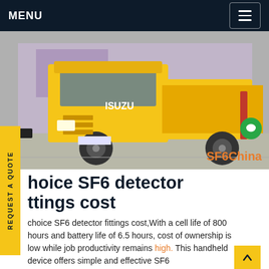MENU
[Figure (photo): Yellow ISUZU truck/flatbed vehicle parked on a street with a building and fabric backdrop behind it. SF6China watermark in orange at bottom right.]
choice SF6 detector fittings cost
choice SF6 detector fittings cost,With a cell life of 800 hours and battery life of 6.5 hours, cost of ownership is low while job productivity remains high. This handheld device offers simple and effective SF6